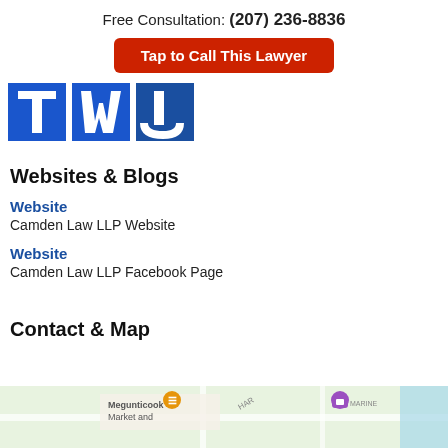Free Consultation: (207) 236-8836
Tap to Call This Lawyer
[Figure (logo): Law firm logo with blue letters T W J on blue background blocks]
Websites & Blogs
Website
Camden Law LLP Website
Website
Camden Law LLP Facebook Page
Contact & Map
[Figure (map): Partial street map showing Megunticook Market and surrounding area]